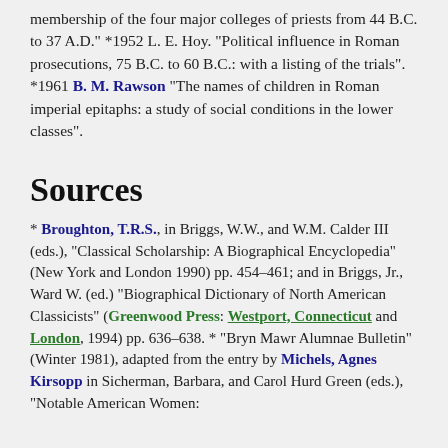membership of the four major colleges of priests from 44 B.C. to 37 A.D." *1952 L. E. Hoy. "Political influence in Roman prosecutions, 75 B.C. to 60 B.C.: with a listing of the trials". *1961 B. M. Rawson "The names of children in Roman imperial epitaphs: a study of social conditions in the lower classes".
Sources
* Broughton, T.R.S., in Briggs, W.W., and W.M. Calder III (eds.), "Classical Scholarship: A Biographical Encyclopedia" (New York and London 1990) pp. 454–461; and in Briggs, Jr., Ward W. (ed.) "Biographical Dictionary of North American Classicists" (Greenwood Press: Westport, Connecticut and London, 1994) pp. 636–638. * "Bryn Mawr Alumnae Bulletin" (Winter 1981), adapted from the entry by Michels, Agnes Kirsopp in Sicherman, Barbara, and Carol Hurd Green (eds.), "Notable American Women: